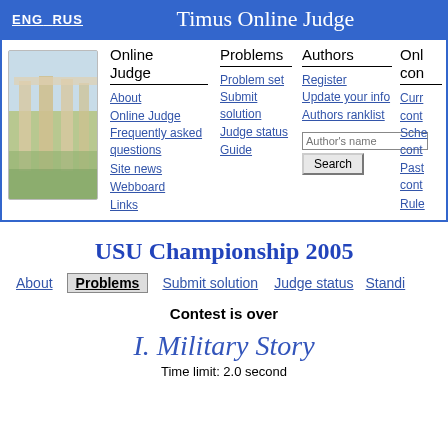ENG  RUS    Timus Online Judge
[Figure (screenshot): Navigation bar of Timus Online Judge website with logo image, links for Online Judge, Problems, Authors, and Online contests columns]
USU Championship 2005
About   Problems   Submit solution   Judge status   Standings
Contest is over
I. Military Story
Time limit: 2.0 second